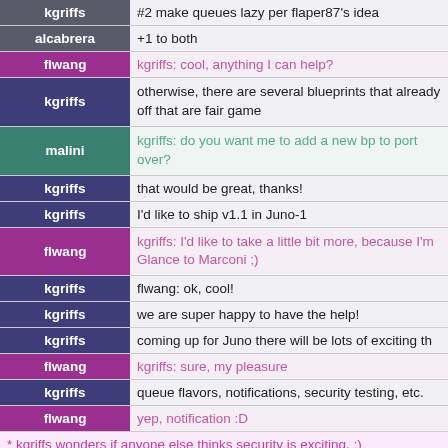| user | message |
| --- | --- |
| kgriffs | #2 make queues lazy per flaper87's idea |
| alcabrera | +1 to both |
| flwang | kgriffs: cool, anything I can help? |
| kgriffs | otherwise, there are several blueprints that already off that are fair game |
| malini | kgriffs: do you want me to add a new bp to port over? |
| kgriffs | that would be great, thanks! |
| kgriffs | I'd like to ship v1.1 in Juno-1 |
| flwang | kgriffs: I'd like to take a little bit more, because I'm Glance to Marconi ;) |
| kgriffs | flwang: ok, cool! |
| kgriffs | we are super happy to have the help! |
| kgriffs | coming up for Juno there will be lots of exciting th |
| flwang | kgriffs: sure, my pleasure |
| kgriffs | queue flavors, notifications, security testing, etc. |
| flwang | yep, notification :D |
| * kgriffs wonders if anyone else thinks security is exciting. :) |  |
| kgriffs | speaking of which, I think we should start getting doing/updating a thread model for each milestone |
| kgriffs | s/thread/threat |
| kgriffs | flaper87: ^^^ |